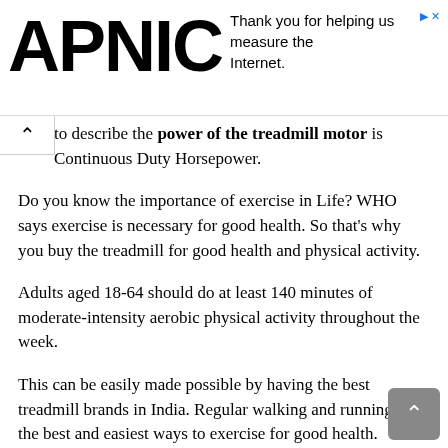[Figure (logo): APNIC logo in large bold black letters on the left side of the top banner]
Thank you for helping us measure the Internet.
to describe the power of the treadmill motor is Continuous Duty Horsepower.
Do you know the importance of exercise in Life? WHO says exercise is necessary for good health. So that’s why you buy the treadmill for good health and physical activity.
Adults aged 18-64 should do at least 140 minutes of moderate-intensity aerobic physical activity throughout the week.
This can be easily made possible by having the best treadmill brands in India. Regular walking and running are the best and easiest ways to exercise for good health.